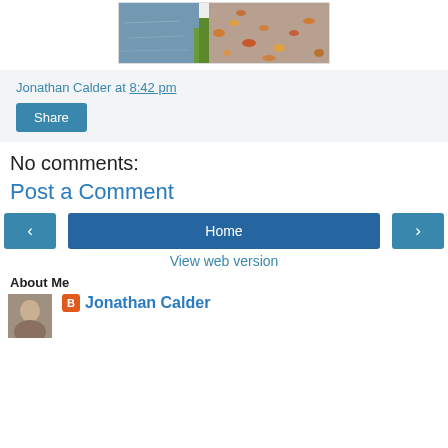[Figure (photo): Partial photo showing autumn leaves along a water's edge with green grass, viewed from above]
Jonathan Calder at 8:42 pm
Share
No comments:
Post a Comment
< Home >
View web version
About Me
Jonathan Calder